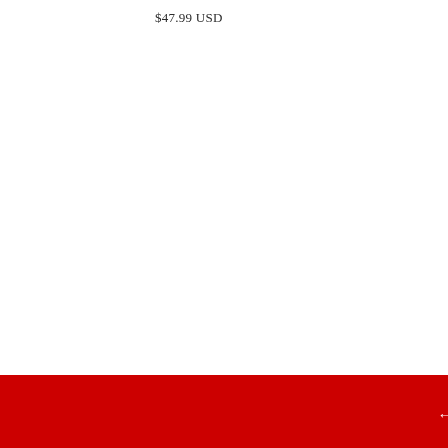$47.99 USD
PIEO
$47.99
← BACK TO EARRING SETS
Search
My Account
Track My Order
Contact Us
Shipping Terms